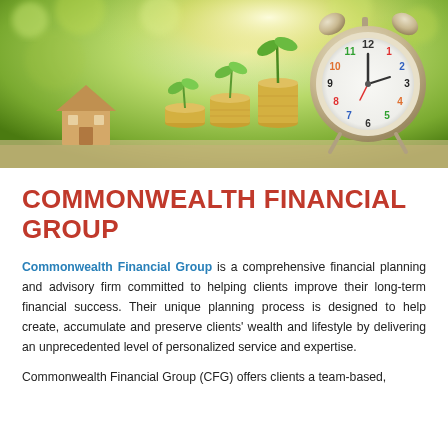[Figure (photo): Hero banner photo showing a wooden house figurine, three stacks of coins with small green plants growing from them, and a colorful alarm clock on a bright green bokeh background, representing financial growth and time.]
COMMONWEALTH FINANCIAL GROUP
Commonwealth Financial Group is a comprehensive financial planning and advisory firm committed to helping clients improve their long-term financial success. Their unique planning process is designed to help create, accumulate and preserve clients' wealth and lifestyle by delivering an unprecedented level of personalized service and expertise.
Commonwealth Financial Group (CFG) offers clients a team-based,